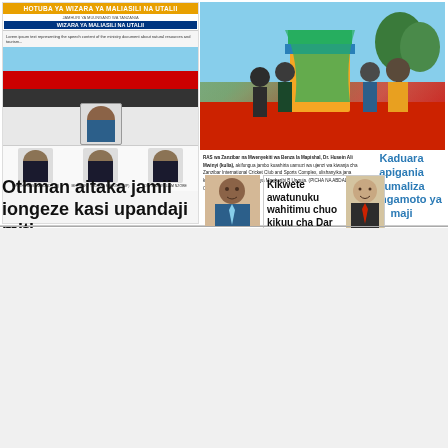[Figure (photo): Newspaper front page layout with speech document header 'HOTUBA YA WIZARA YA MALIASILI NA UTALII' showing government officials]
[Figure (photo): Officials at an unveiling ceremony at Zanzibar International Cricket Club and Sports Complex]
RAS wa Zanzibar na Mwenyekiti wa Benza la Mapishal, Dr. Husein Ali Mwinyi (kulia), akifungua jambo kuashiria uamuzi wa ujenzi wa kiwanja cha Zanzibar International Cricket Club and Sports Complex, ulishanyika jana katika kizi cha Amba wilaya ya Magharibi B Unguja. (PICHA NA ABDALLA OMAR).
Kaduara apigania kumaliza changamoto ya maji
Othman aitaka jamii iongeze kasi upandaji miti
[Figure (photo): Portrait of a man in suit with blue tie]
Kikwete awatunuku wahitimu chuo kikuu cha Dar es Salaam
[Figure (photo): Portrait of a smiling man in suit with red tie]
[Figure (photo): Breaking news lottery advertisement - SUPA JACKPOT 1,001,641,108/- KWA 1000/- TUI]
BREAKING NEWS
SUPA JACKPOT
1,001,641,108/-
KWA 1000/- TUI
[Figure (photo): Gold nuggets/minerals image]
NESI adaiwa kukamatwa na dawa za kulevya
[Figure (photo): Newspaper advertisement for Wizara ya Maliasili na Utalii]